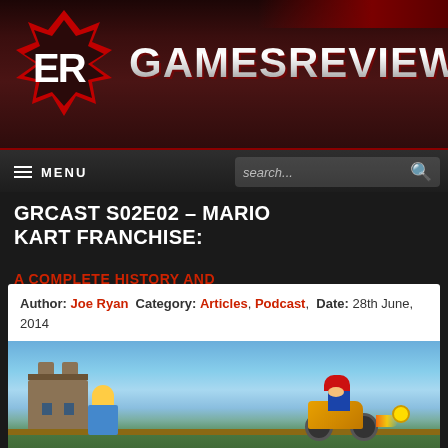GAMESREVIEWS
GRCAST S02E02 – MARIO KART FRANCHISE:
Author: Joe Ryan  Category: Articles, Podcast,  Date: 28th June, 2014
[Figure (screenshot): Mario Kart gameplay screenshot showing Mario riding a motorcycle on a track with a village in the background]